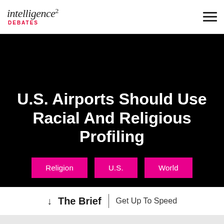intelligence² DEBATES
U.S. Airports Should Use Racial And Religious Profiling
Religion
U.S.
World
↓ The Brief | Get Up To Speed